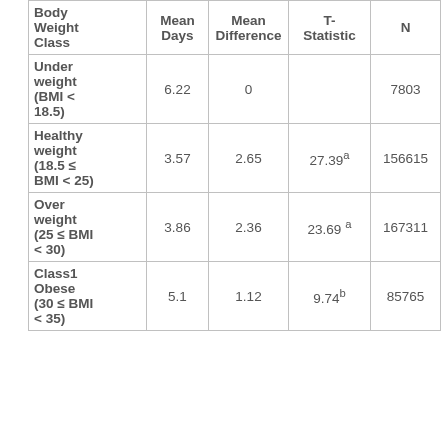| Body Weight Class | Mean Days | Mean Difference | T-Statistic | N |
| --- | --- | --- | --- | --- |
| Underweight (BMI < 18.5) | 6.22 | 0 |  | 7803 |
| Healthy weight (18.5 ≤ BMI < 25) | 3.57 | 2.65 | 27.39a | 156615 |
| Overweight (25 ≤ BMI < 30) | 3.86 | 2.36 | 23.69 a | 167311 |
| Class1 Obese (30 ≤ BMI < 35) | 5.1 | 1.12 | 9.74b | 85765 |